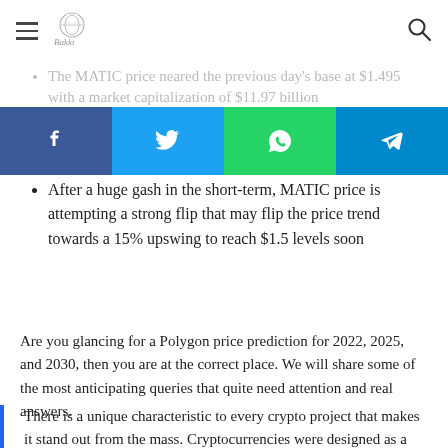Navigation header with hamburger menu, logo, and search icon
The MATIC price neared the previous day's base at $1.495 with a market capitalization of $11.97 billion (partially visible, faded)
[Figure (infographic): Social share bar with four buttons: Facebook (blue), Twitter (light blue), WhatsApp (green), Telegram (dark blue)]
After a huge gash in the short-term, MATIC price is attempting a strong flip that may flip the price trend towards a 15% upswing to reach $1.5 levels soon
Are you glancing for a Polygon price prediction for 2022, 2025, and 2030, then you are at the correct place. We will share some of the most anticipating queries that quite need attention and real answers.
There is a unique characteristic to every crypto project that makes it stand out from the mass. Cryptocurrencies were designed as a secure network that extends the